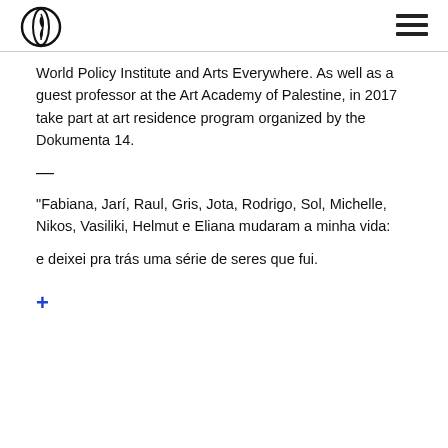[Logo and navigation menu]
World Policy Institute and Arts Everywhere. As well as a guest professor at the Art Academy of Palestine, in 2017 take part at art residence program organized by the Dokumenta 14.
—
“Fabiana, Jarí, Raul, Gris, Jota, Rodrigo, Sol, Michelle, Nikos, Vasiliki, Helmut e Eliana mudaram a minha vida:
e deixei pra trás uma série de seres que fui.
+